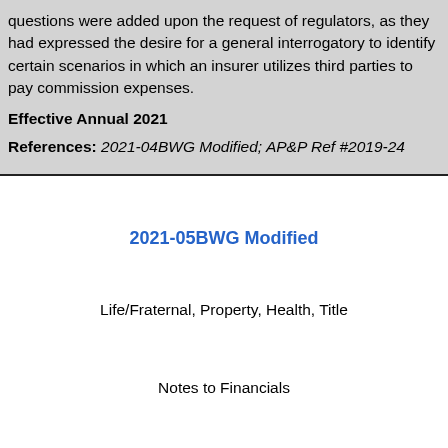questions were added upon the request of regulators, as they had expressed the desire for a general interrogatory to identify certain scenarios in which an insurer utilizes third parties to pay commission expenses.
Effective Annual 2021
References: 2021-04BWG Modified; AP&P Ref #2019-24
2021-05BWG Modified
Life/Fraternal, Property, Health, Title
Notes to Financials